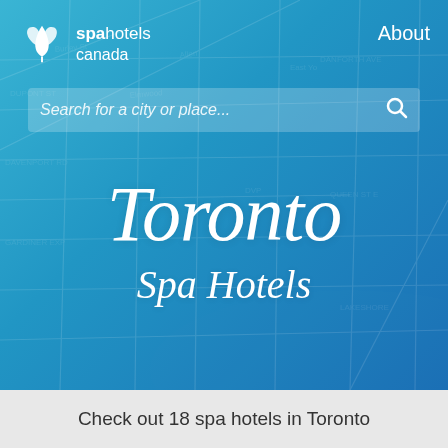[Figure (screenshot): Spa Hotels Canada website screenshot showing a hero banner with a blue gradient background overlaid with a faint Toronto street map. The header contains the Spa Hotels Canada logo (leaf icon + text) on the left and 'About' link on the right. A search bar reads 'Search for a city or place...' Below center is the word 'Toronto' in large cursive white font, and 'Spa Hotels' in smaller cursive white font beneath it.]
Check out 18 spa hotels in Toronto